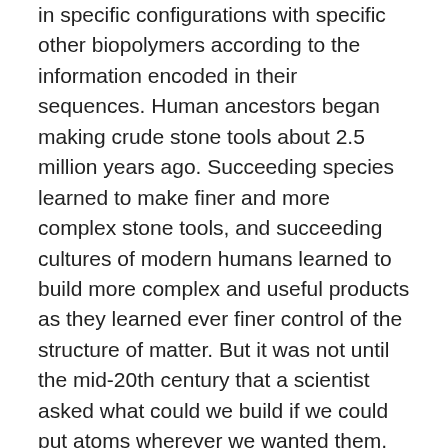in specific configurations with specific other biopolymers according to the information encoded in their sequences. Human ancestors began making crude stone tools about 2.5 million years ago. Succeeding species learned to make finer and more complex stone tools, and succeeding cultures of modern humans learned to build more complex and useful products as they learned ever finer control of the structure of matter. But it was not until the mid-20th century that a scientist asked what could we build if we could put atoms wherever we wanted them, consistent with the laws of physics and chemistry.
This level of technology was first described by Richard Feynman in 1959 in a visionary talk "There's Plenty of Room at the Bottom". "The principles of physics, as far as I can see, do not speak against the possibility of maneuvering things atom by atom." He asked "What